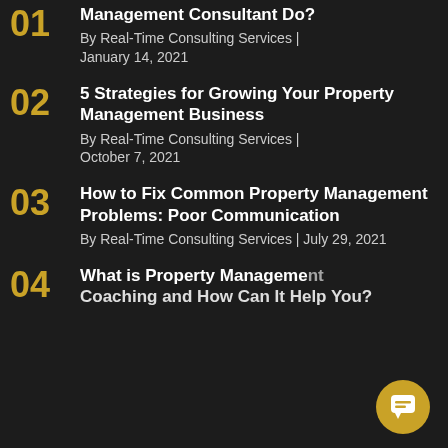01 Management Consultant Do? By Real-Time Consulting Services | January 14, 2021
02 5 Strategies for Growing Your Property Management Business By Real-Time Consulting Services | October 7, 2021
03 How to Fix Common Property Management Problems: Poor Communication By Real-Time Consulting Services | July 29, 2021
04 What is Property Management Coaching and How Can It Help You?